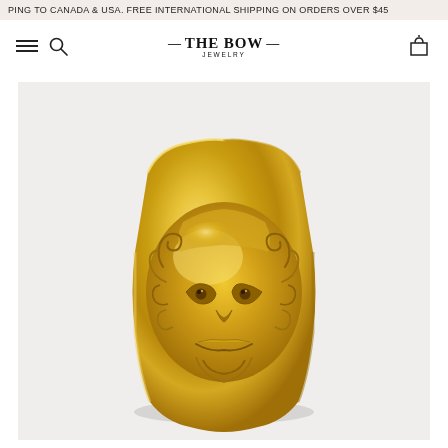PING TO CANADA & USA. FREE INTERNATIONAL SHIPPING ON ORDERS OVER $45
[Figure (logo): The Bow Jewelry logo with decorative arrows and hamburger menu, search icon, and cart icon in navigation bar]
[Figure (photo): Close-up photo of a gold brass cuff bracelet or ring featuring an embossed lion or mythological face design with curling decorative scrollwork, on a light grey/white background]